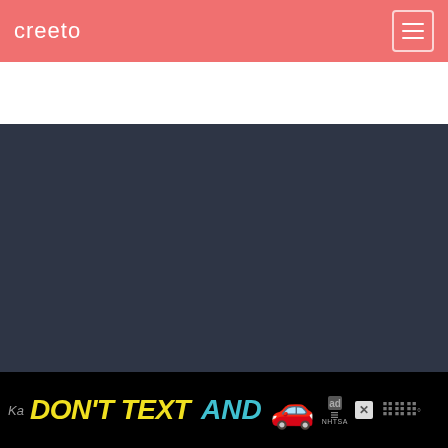creeto
[Figure (screenshot): Dark blue-gray main content area, empty]
[Figure (infographic): Black ad banner: DON'T TEXT AND [car emoji] with NHTSA logo and close button]